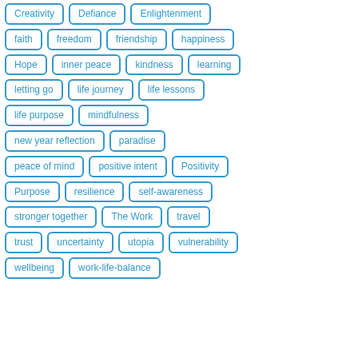Creativity
Defiance
Enlightenment
faith
freedom
friendship
happiness
Hope
inner peace
kindness
learning
letting go
life journey
life lessons
life purpose
mindfulness
new year reflection
paradise
peace of mind
positive intent
Positivity
Purpose
resilience
self-awareness
stronger together
The Work
travel
trust
uncertainty
utopia
vulnerability
wellbeing
work-life-balance